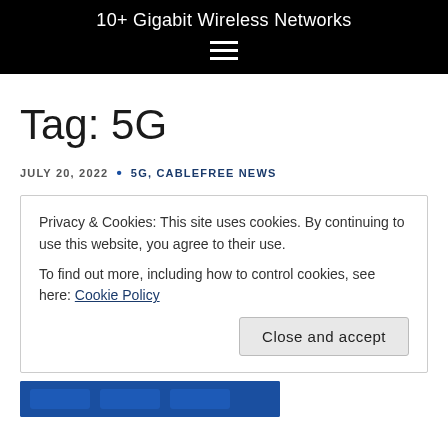10+ Gigabit Wireless Networks
Tag: 5G
JULY 20, 2022  •  5G, CABLEFREE NEWS
Privacy & Cookies: This site uses cookies. By continuing to use this website, you agree to their use.
To find out more, including how to control cookies, see here: Cookie Policy
Close and accept
[Figure (other): Blue banner image partially visible at bottom]